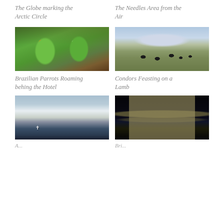The Globe marking the Arctic Circle
The Needles Area from the Air
[Figure (photo): Two green parrots perched inside what appears to be behind a hotel]
[Figure (photo): Condors feasting on a lamb in an open field with mountains in background]
Brazilian Parrots Roaming behing the Hotel
Condors Feasting on a Lamb
[Figure (photo): Arctic mountain landscape with crosses visible on rocky outcrop near water]
[Figure (photo): Bridge at night with reflections on water below]